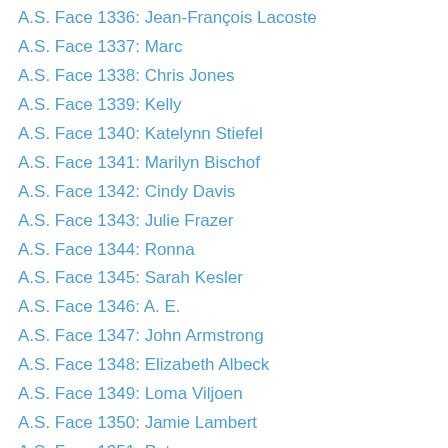A.S. Face 1336: Jean-François Lacoste
A.S. Face 1337: Marc
A.S. Face 1338: Chris Jones
A.S. Face 1339: Kelly
A.S. Face 1340: Katelynn Stiefel
A.S. Face 1341: Marilyn Bischof
A.S. Face 1342: Cindy Davis
A.S. Face 1343: Julie Frazer
A.S. Face 1344: Ronna
A.S. Face 1345: Sarah Kesler
A.S. Face 1346: A. E.
A.S. Face 1347: John Armstrong
A.S. Face 1348: Elizabeth Albeck
A.S. Face 1349: Loma Viljoen
A.S. Face 1350: Jamie Lambert
A.S. Face 1351: Pat
A.S. Face 1352: Aaron
A.S. Face 1353: Michael Rothermund
A.S. Face 1354: Trisha
A.S. Face 1355: Michelle Austin